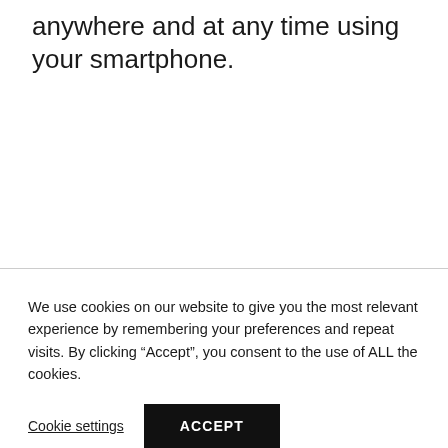anywhere and at any time using your smartphone.
We use cookies on our website to give you the most relevant experience by remembering your preferences and repeat visits. By clicking “Accept”, you consent to the use of ALL the cookies.
Cookie settings
ACCEPT